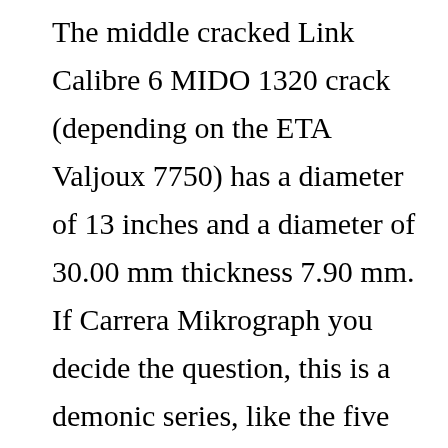The middle cracked Link Calibre 6 MIDO 1320 crack (depending on the ETA Valjoux 7750) has a diameter of 13 inches and a diameter of 30.00 mm thickness 7.90 mm. If Carrera Mikrograph you decide the question, this is a demonic series, like the five themes in the world 2000 and 6000 different Roger Give Yan. “Effective” world technology. In this respect, we can see that the brand in this industry is very complicated. reputable Millennium Design Audemars Piguet is the main point of this spring style. If you have